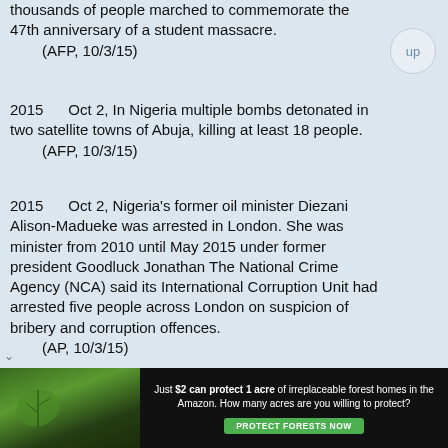thousands of people marched to commemorate the 47th anniversary of a student massacre.
    (AFP, 10/3/15)
2015      Oct 2, In Nigeria multiple bombs detonated in two satellite towns of Abuja, killing at least 18 people.
    (AFP, 10/3/15)
2015      Oct 2, Nigeria's former oil minister Diezani Alison-Madueke was arrested in London. She was minister from 2010 until May 2015 under former president Goodluck Jonathan The National Crime Agency (NCA) said its International Corruption Unit had arrested five people across London on suspicion of bribery and corruption offences.
    (AP, 10/3/15)
2015      Oct 2, Pakistan took its long-running dispute with neighboring India to the UN as the country's UN Ambassador Maleeha Lodhi presented three dossiers to Sec.-Gen. Ban Ki-moon's office alleging Indian involvement in fomenting unrest in Pakistan.
    (AP, 10/2/15)
[Figure (other): Advertisement banner: forest/Amazon background with text 'Just $2 can protect 1 acre of irreplaceable forest homes in the Amazon. How many acres are you willing to protect?' and a green 'PROTECT FORESTS NOW' button.]